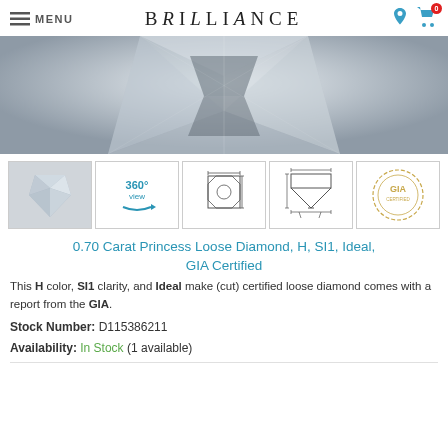MENU | BRiLLiANCE
[Figure (photo): Close-up photograph of a princess cut diamond showing facets and brilliance, displayed on a grey gradient background.]
[Figure (photo): Row of 5 thumbnail images: princess cut diamond photo, 360 degree view icon, top-view diagram, side-view diagram, GIA certificate seal.]
0.70 Carat Princess Loose Diamond, H, SI1, Ideal, GIA Certified
This H color, SI1 clarity, and Ideal make (cut) certified loose diamond comes with a report from the GIA.
Stock Number: D115386211
Availability: In Stock (1 available)